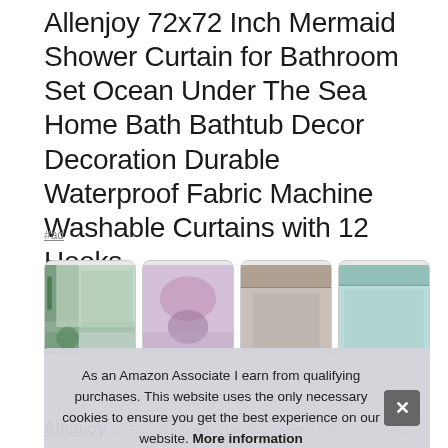Allenjoy 72x72 Inch Mermaid Shower Curtain for Bathroom Set Ocean Under The Sea Home Bath Bathtub Decor Decoration Durable Waterproof Fabric Machine Washable Curtains with 12 Hooks
#ad
[Figure (photo): Four product thumbnail images of mermaid shower curtain in a horizontal row]
As an Amazon Associate I earn from qualifying purchases. This website uses the only necessary cookies to ensure you get the best experience on our website. More information
Allenjoy ... Colouful graphic designs printed with advanced...